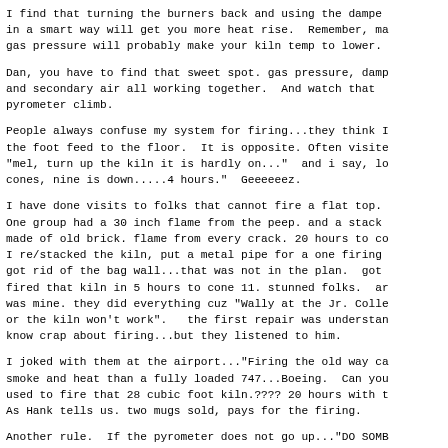I find that turning the burners back and using the damper in a smart way will get you more heat rise.  Remember, more gas pressure will probably make your kiln temp to lower.
Dan, you have to find that sweet spot. gas pressure, damper and secondary air all working together.  And watch that pyrometer climb.
People always confuse my system for firing...they think I the foot feed to the floor.  It is opposite. Often visited "mel, turn up the kiln it is hardly on..." and i say, lo cones, nine is down.....4 hours."  Geeeeeez.
I have done visits to folks that cannot fire a flat top. One group had a 30 inch flame from the peep. and a stack made of old brick. flame from every crack. 20 hours to co I re/stacked the kiln, put a metal pipe for a one firing got rid of the bag wall...that was not in the plan.  got fired that kiln in 5 hours to cone 11. stunned folks.  ar was mine. they did everything cuz "Wally at the Jr. Colle or the kiln won't work".   the first repair was understan know crap about firing...but they listened to him.
I joked with them at the airport..."Firing the old way ca smoke and heat than a fully loaded 747...Boeing.  Can you used to fire that 28 cubic foot kiln.???? 20 hours with t As Hank tells us. two mugs sold, pays for the firing.
Another rule.  If the pyrometer does not go up..."DO SOMB JUST DON'T KEEP FIRING.  And the dumbest comment.."I have